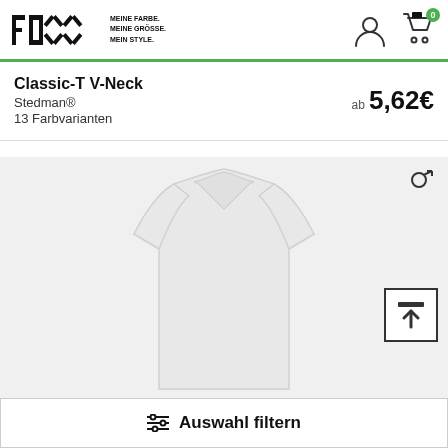FOXX — MEINE FARBE. MEINE GRÖSSE. MEIN STYLE.
Classic-T V-Neck
Stedman®
13 Farbvarianten
ab 5,62€
[Figure (photo): White V-neck t-shirt product photo on light grey background with male gender icon in top right corner]
Auswahl filtern